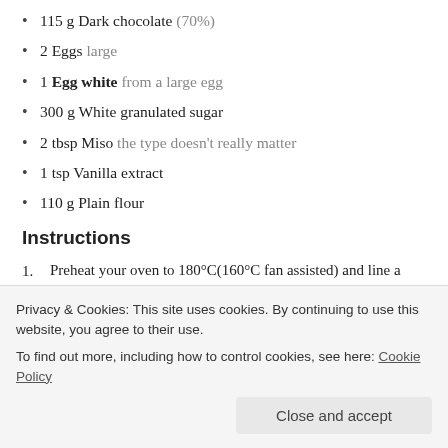115 g Dark chocolate (70%)
2 Eggs large
1 Egg white from a large egg
300 g White granulated sugar
2 tbsp Miso the type doesn't really matter
1 tsp Vanilla extract
110 g Plain flour
Instructions
Preheat your oven to 180°C(160°C fan assisted) and line a 9x9inch square tin with baking paper.
While the oven's heating up, melt the chocolate and butter together. Do this by placing a heatproof bowl over a pan of simmering water. Don't let the bottom of the bowl touch the water and stir until the butter and chocolate have melted together.
Leave this mixture somewhere cool a little while you do the...
Privacy & Cookies: This site uses cookies. By continuing to use this website, you agree to their use.
To find out more, including how to control cookies, see here: Cookie Policy
some up on the whisk and dribble it across the top, it should